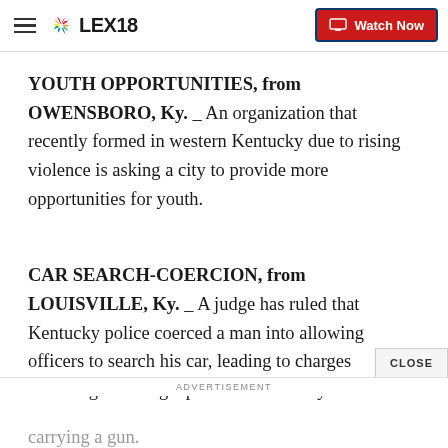LEX18 | Watch Now
YOUTH OPPORTUNITIES, from OWENSBORO, Ky. _ An organization that recently formed in western Kentucky due to rising violence is asking a city to provide more opportunities for youth.
CAR SEARCH-COERCION, from LOUISVILLE, Ky. _ A judge has ruled that Kentucky police coerced a man into allowing officers to search his car, leading to charges including violating a protective order by carrying a gun.
FEDERAL INDICTMENTS-LOUISVILLE, from
ADVERTISEMENT